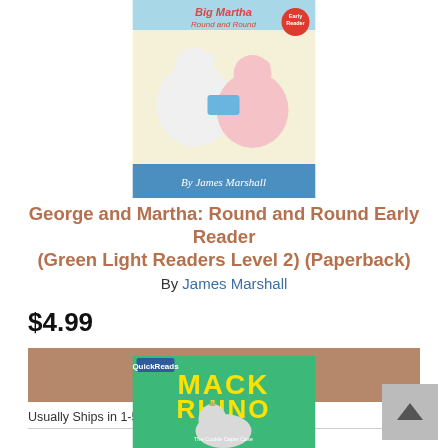[Figure (photo): Book cover of George and Martha: Round and Round Early Reader, showing two cartoon mice characters, by James Marshall, with a light yellow background and blue banner at bottom.]
George and Martha: Round and Round Early Reader (Green Light Readers Level 2) (Paperback)
By James Marshall
$4.99
ADD TO CART
Usually Ships in 1-5 Days
[Figure (photo): Book cover of Mack Rhino on the right side, showing a cartoon rhino character on a green background.]